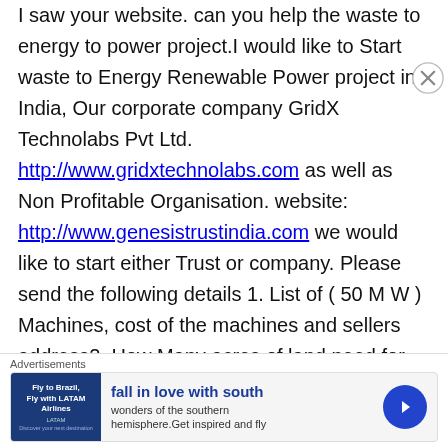I saw your website. can you help the waste to energy to power project.I would like to Start waste to Energy Renewable Power project in India, Our corporate company GridX Technolabs Pvt Ltd. http://www.gridxtechnolabs.com as well as Non Profitable Organisation. website: http://www.genesistrustindia.com we would like to start either Trust or company. Please send the following details 1. List of ( 50 M W ) Machines, cost of the machines and sellers address2. How Many acres of land need for the project3. 50 MW Project profile and cost with all profile with cash flow Statement, P & L Project over view, cost of Production. We want project proposal with full
Advertisements
[Figure (infographic): Advertisement banner: blue image on left showing 'Fly to Brazil, Fly with LATAM Airlines, Discover your next destination', bold text 'fall in love with south', subtext 'wonders of the southern hemisphere.Get inspired and fly', with a blue circular arrow button on the right.]